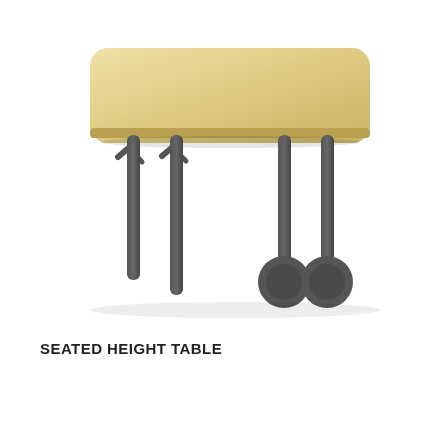[Figure (illustration): A seated-height table with a light wood rectangular top with rounded corners, supported by four dark gray/charcoal cylindrical legs. Two of the visible legs have small branching hooks near the top. Two legs on the right side have large circular disc feet/wheels at the bottom.]
SEATED HEIGHT TABLE